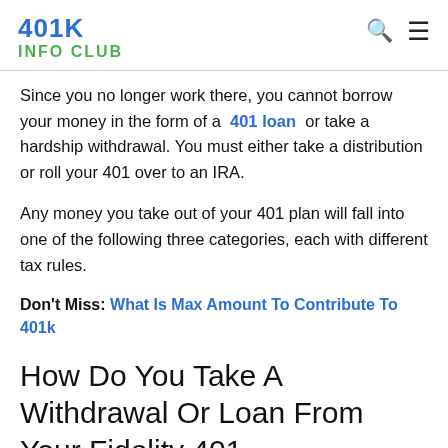401K INFO CLUB
Since you no longer work there, you cannot borrow your money in the form of a 401 loan or take a hardship withdrawal. You must either take a distribution or roll your 401 over to an IRA.
Any money you take out of your 401 plan will fall into one of the following three categories, each with different tax rules.
Don't Miss: What Is Max Amount To Contribute To 401k
How Do You Take A Withdrawal Or Loan From Your Fidelity 401